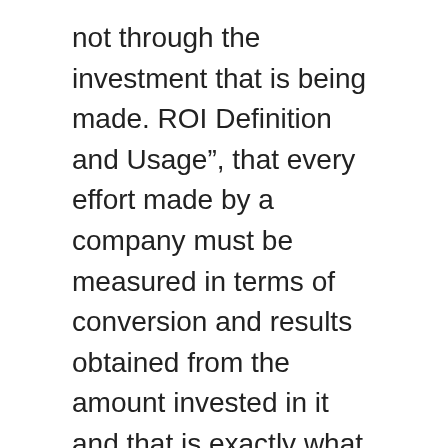not through the investment that is being made. ROI Definition and Usage”, that every effort made by a company must be measured in terms of conversion and results obtained from the amount invested in it and that is exactly what ROI does. Use these steps to calculate ROI using Excel: 1. Dan Stegmaier, Network & Systems Administrator, Insert your wealth creation goal. Return On Investment Calculator The simple way to work out your return on investment, now and well into the future. In this template, you just need to enter the numbers against the respective cells and it will automatically calculate the HCROI for you. Why is the Chrome Browser Slow? This is measured